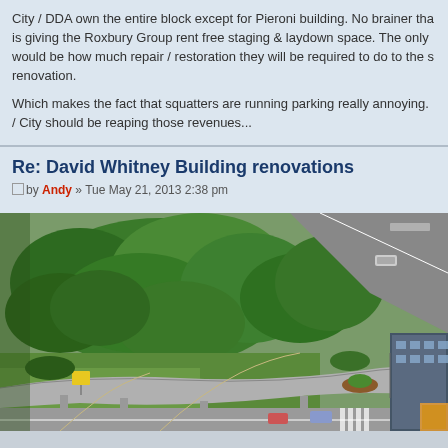City / DDA own the entire block except for Pieroni building. No brainer that is giving the Roxbury Group rent free staging & laydown space. The only would be how much repair / restoration they will be required to do to the s renovation.

Which makes the fact that squatters are running parking really annoying. / City should be reaping those revenues...
Re: David Whitney Building renovations
by Andy » Tue May 21, 2013 2:38 pm
[Figure (photo): Aerial view of an urban park and intersection, showing green trees, roads, a curved overpass or ramp structure, and city buildings. Cars are visible on the streets. The scene appears to be from a high vantage point looking down at a city park near a major intersection.]